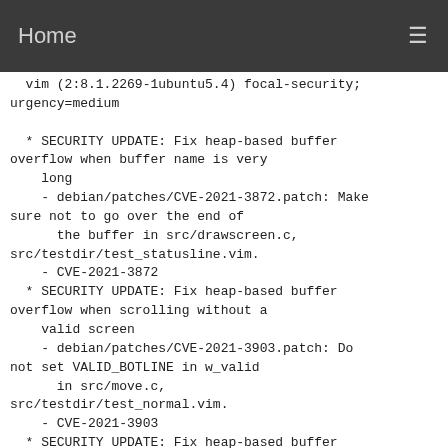Home
vim (2:8.1.2269-1ubuntu5.4) focal-security; urgency=medium

  * SECURITY UPDATE: Fix heap-based buffer overflow when buffer name is very
    long
    - debian/patches/CVE-2021-3872.patch: Make sure not to go over the end of
      the buffer in src/drawscreen.c,
      src/testdir/test_statusline.vim.
    - CVE-2021-3872
  * SECURITY UPDATE: Fix heap-based buffer overflow when scrolling without a
    valid screen
    - debian/patches/CVE-2021-3903.patch: Do not set VALID_BOTLINE in w_valid
      in src/move.c,
      src/testdir/test_normal.vim.
    - CVE-2021-3903
  * SECURITY UPDATE: Fix heap-based buffer overflow when reading character